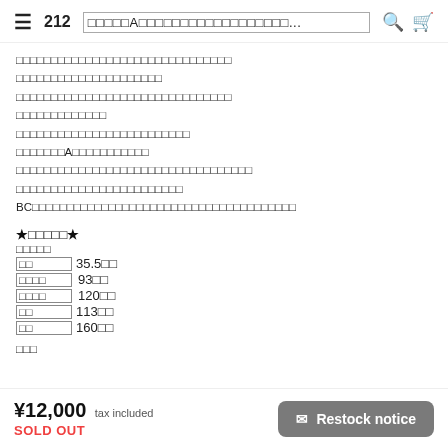212  ＿＿＿＿＿A＿＿＿＿＿＿＿＿＿＿＿＿＿＿＿...
□□□□□□□□□□□□□□□□□□□□□□□□□□□□□□□
□□□□□□□□□□□□□□□□□□□□□
□□□□□□□□□□□□□□□□□□□□□□□□□□□□□□□
□□□□□□□□□□□□□
□□□□□□□□□□□□□□□□□□□□□□□□□
□□□□□□□A□□□□□□□□□□□
□□□□□□□□□□□□□□□□□□□□□□□□□□□□□□□□□□
□□□□□□□□□□□□□□□□□□□□□□□□
BC□□□□□□□□□□□□□□□□□□□□□□□□□□□□□□□□□□□□□□
★□□□□□★
□□□□□
□□  35.5□□
□□□□  93□□
□□□□  120□□
□□  113□□
□□  160□□
□□□
¥12,000  tax included
SOLD OUT
✉ Restock notice